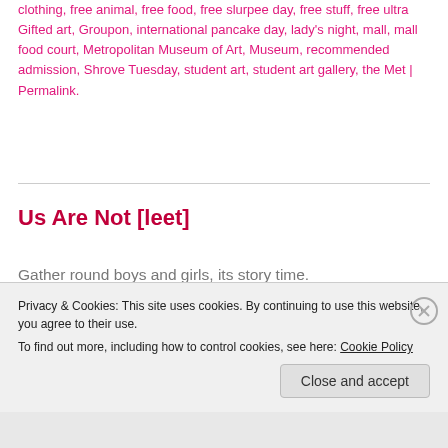clothing, free animal, free food, free slurpee day, free stuff, Gifted art, Groupon, international pancake day, lady's night, mall, mall food court, Metropolitan Museum of Art, Museum, recommended admission, Shrove Tuesday, student art, student art gallery, the Met | Permalink.
Us Are Not [leet]
Gather round boys and girls, its story time.
My friend Brett has been having some tough times. Right now, so am I, so I feel his pain. Therefore, in an effort to cheer him up, and because I feel like it, I've decided to tell
Privacy & Cookies: This site uses cookies. By continuing to use this website, you agree to their use.
To find out more, including how to control cookies, see here: Cookie Policy
Close and accept